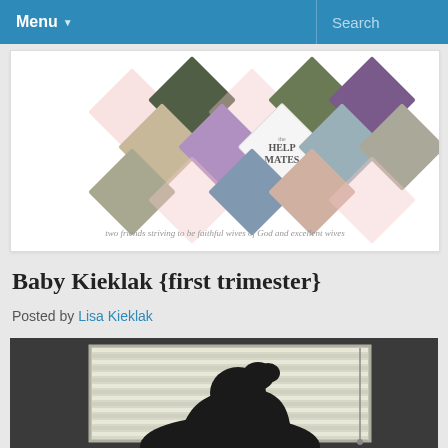Menu   Search
[Figure (logo): The Help Mates blog logo — diamond-shaped collage of photos with text 'the HELP MATES' and subtitle 'two friends striving to be faithful wives of God and excellent wives']
Baby Kieklak {first trimester}
Posted by Lisa Kieklak
[Figure (photo): Black and white photograph of a pregnant woman's silhouette against a window with horizontal blinds]